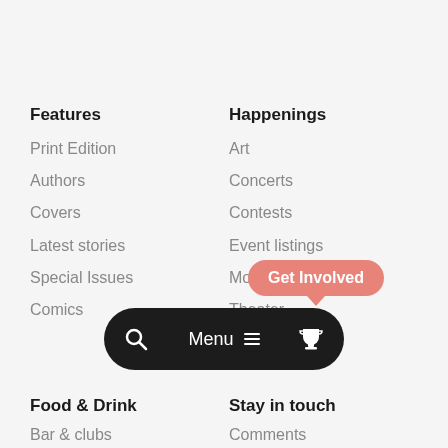Features
Print Edition
Authors
Covers
Latest stories
Special Issues
Comics
Happenings
Art
Concerts
Contests
Event listings
Movie showtimes
Theater
Travel
[Figure (screenshot): Dark rounded pill-shaped navigation menu bar with search icon, 'Menu' text with hamburger icon, and trophy icon. A coral/salmon colored 'Get Involved' tooltip bubble appears above the menu bar.]
Food & Drink
Bar & clubs
Stay in touch
Comments